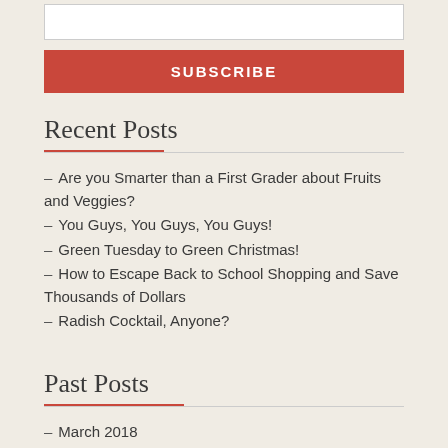[Figure (other): Text input field (subscribe form input box)]
SUBSCRIBE
Recent Posts
– Are you Smarter than a First Grader about Fruits and Veggies?
– You Guys, You Guys, You Guys!
– Green Tuesday to Green Christmas!
– How to Escape Back to School Shopping and Save Thousands of Dollars
– Radish Cocktail, Anyone?
Past Posts
– March 2018
– November 2017